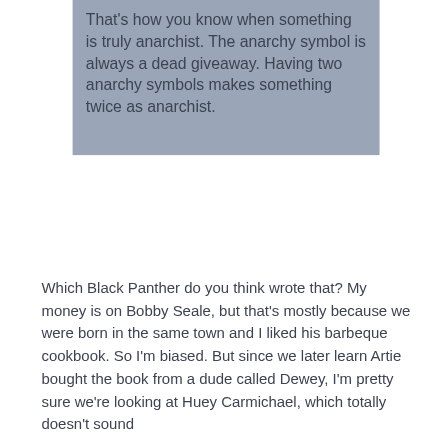That's how you know when something is truly anarchist.  The anarchy symbol is always a dead giveaway.  Having two anarchy symbols makes something twice as anarchist.
Which Black Panther do you think wrote that?  My money is on Bobby Seale, but that's mostly because we were born in the same town and I liked his barbeque cookbook.  So I'm biased.  But since we later learn Artie bought the book from a dude called Dewey,  I'm pretty sure we're looking at Huey Carmichael, which totally doesn't sound